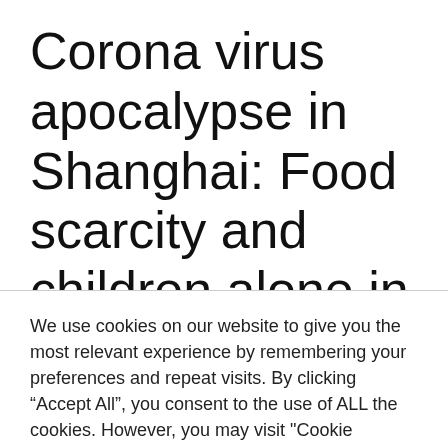Corona virus apocalypse in Shanghai: Food scarcity and children alone in isolation –
We use cookies on our website to give you the most relevant experience by remembering your preferences and repeat visits. By clicking “Accept All”, you consent to the use of ALL the cookies. However, you may visit "Cookie Settings" to provide a controlled consent.